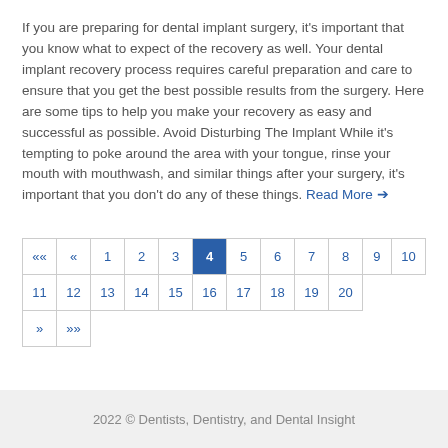If you are preparing for dental implant surgery, it's important that you know what to expect of the recovery as well. Your dental implant recovery process requires careful preparation and care to ensure that you get the best possible results from the surgery. Here are some tips to help you make your recovery as easy and successful as possible. Avoid Disturbing The Implant While it's tempting to poke around the area with your tongue, rinse your mouth with mouthwash, and similar things after your surgery, it's important that you don't do any of these things. Read More →
| «« | « | 1 | 2 | 3 | 4 | 5 | 6 | 7 | 8 | 9 | 10 |
| --- | --- | --- | --- | --- | --- | --- | --- | --- | --- | --- | --- |
| 11 | 12 | 13 | 14 | 15 | 16 | 17 | 18 | 19 | 20 |
| » | »» |
2022 © Dentists, Dentistry, and Dental Insight